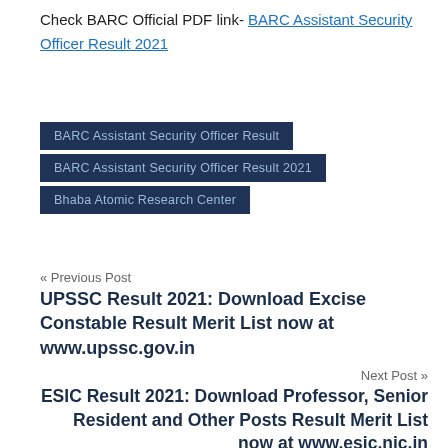Check BARC Official PDF link- BARC Assistant Security Officer Result 2021
BARC Assistant Security Officer Result
BARC Assistant Security Officer Result 2021
Bhaba Atomic Research Center
« Previous Post
UPSSC Result 2021: Download Excise Constable Result Merit List now at www.upssc.gov.in
Next Post »
ESIC Result 2021: Download Professor, Senior Resident and Other Posts Result Merit List now at www.esic.nic.in